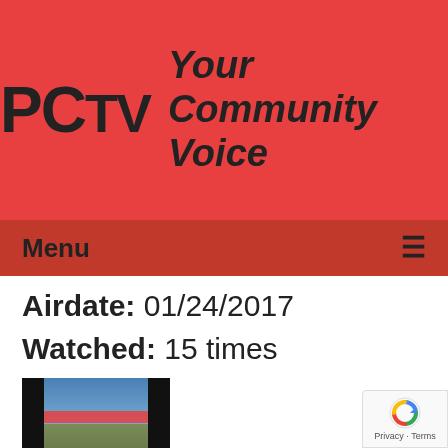[Figure (logo): PCTV logo with text 'Your Community Voice' on red background]
Menu ≡
Airdate: 01/24/2017
Watched: 15 times
[Figure (screenshot): Thumbnail of cockpit view looking at runway/ground from aircraft]
The Crumbling Runway
Airdate: 01/10/2017